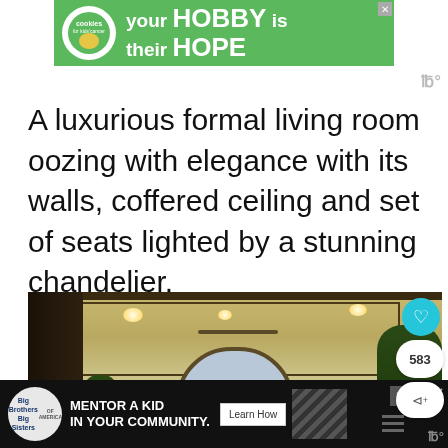[Figure (screenshot): Green advertisement banner for cookies for kids' cancer: 'your HOBBY is their HOPE']
A luxurious formal living room oozing with elegance with its walls, coffered ceiling and set of seats lighted by a stunning chandelier.
[Figure (photo): Interior photo of a formal living room showing a coffered ceiling with pendant lights and ceiling fan, dark wood framing, plants, and an arched window. Overlaid with a heart/save button, share count (583), and share button.]
[Figure (screenshot): Black advertisement banner: 'MENTOR A KID IN YOUR COMMUNITY.' with Big Brothers Big Sisters logo and 'Learn How' button.]